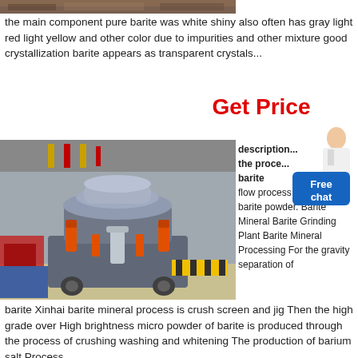[Figure (photo): Top portion of a machine or industrial equipment photo, cropped at top]
the main component pure barite was white shiny also often has gray light red light yellow and other color due to impurities and other mixture good crystallization barite appears as transparent crystals...
Get Price
[Figure (photo): Industrial cone crusher machine in a factory/workshop setting, gray metal body with orange hydraulic cylinders]
description... the proce... barite flow process production of barite powder. Barite Mineral Barite Grinding Plant Barite Mineral Processing For the gravity separation of
[Figure (illustration): Chat widget with person icon and Free chat button in blue]
barite Xinhai barite mineral process is crush screen and jig Then the high grade over High brightness micro powder of barite is produced through the process of crushing washing and whitening The production of barium salt Process